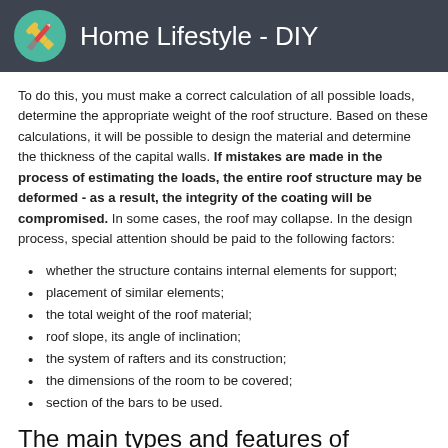Home Lifestyle - DIY
To do this, you must make a correct calculation of all possible loads, determine the appropriate weight of the roof structure. Based on these calculations, it will be possible to design the material and determine the thickness of the capital walls. If mistakes are made in the process of estimating the loads, the entire roof structure may be deformed - as a result, the integrity of the coating will be compromised. In some cases, the roof may collapse. In the design process, special attention should be paid to the following factors:
whether the structure contains internal elements for support;
placement of similar elements;
the total weight of the roof material;
roof slope, its angle of inclination;
the system of rafters and its construction;
the dimensions of the room to be covered;
section of the bars to be used.
The main types and features of fastening the system of rafters